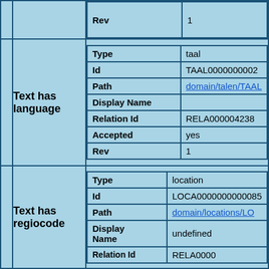|  | Rev | 1 |
| Text has language | Type
Id
Path
Display Name
Relation Id
Accepted
Rev | taal
TAAL0000000002...
domain/talen/TAAL...

RELA0000042387...
yes
1 |
| Text has regiocode | Type
Id
Path
Display Name
Relation Id | location
LOCA0000000000085...
domain/locations/LO...
undefined
RELA0000... |